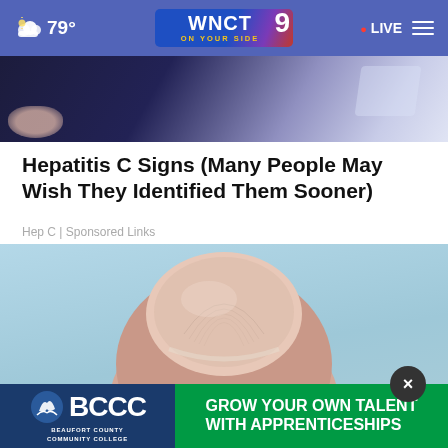79° WNCT 9 ON YOUR SIDE • LIVE
[Figure (photo): Partial view of a dark blue background with a glassy object and a hand, partially visible at bottom of image]
Hepatitis C Signs (Many People May Wish They Identified Them Sooner)
Hep C | Sponsored Links
[Figure (photo): Close-up macro photo of a human fingernail against a light blue background, showing nail ridges and texture]
[Figure (logo): BCCC Beaufort County Community College - Grow Your Own Talent With Apprenticeships advertisement banner]